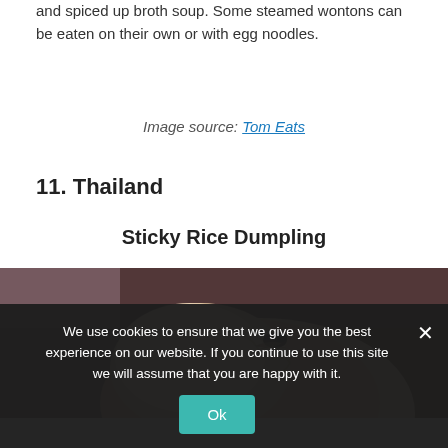and spiced up broth soup. Some steamed wontons can be eaten on their own or with egg noodles.
Image source: Tom Eats
11. Thailand
Sticky Rice Dumpling
[Figure (photo): Close-up photo of a sticky rice dumpling, showing the dough exterior with a small dark filling visible at the top, against a dark brown blurred background.]
We use cookies to ensure that we give you the best experience on our website. If you continue to use this site we will assume that you are happy with it.